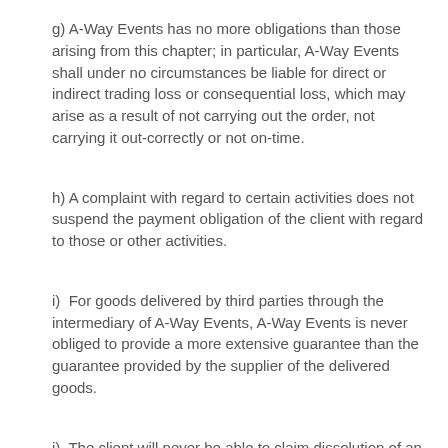g) A-Way Events has no more obligations than those arising from this chapter; in particular, A-Way Events shall under no circumstances be liable for direct or indirect trading loss or consequential loss, which may arise as a result of not carrying out the order, not carrying it out-correctly or not on-time.
h) A complaint with regard to certain activities does not suspend the payment obligation of the client with regard to those or other activities.
i)  For goods delivered by third parties through the intermediary of A-Way Events, A-Way Events is never obliged to provide a more extensive guarantee than the guarantee provided by the supplier of the delivered goods.
j)  The client will never be able to claim dissolution of an